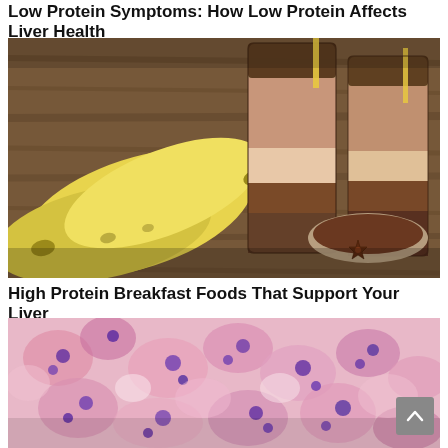Low Protein Symptoms: How Low Protein Affects Liver Health
[Figure (photo): Photo of two glasses of chocolate protein smoothie layered with cream, topped with cocoa powder, next to yellow bananas and a bowl of cocoa powder with star anise on a wooden surface.]
High Protein Breakfast Foods That Support Your Liver
[Figure (photo): Microscopic histology image of liver tissue showing pink and purple-stained cells under magnification.]